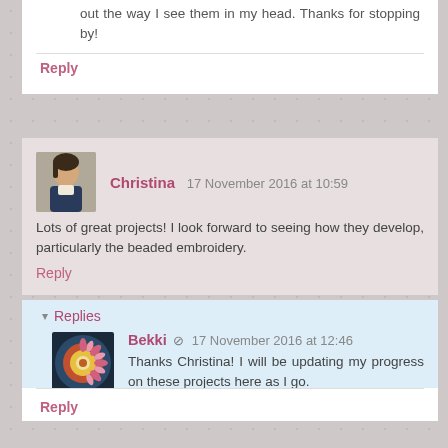out the way I see them in my head. Thanks for stopping by!
Reply
Christina 17 November 2016 at 10:59
Lots of great projects! I look forward to seeing how they develop, particularly the beaded embroidery.
Reply
Replies
Bekki 17 November 2016 at 12:46
Thanks Christina! I will be updating my progress on these projects here as I go.
Reply